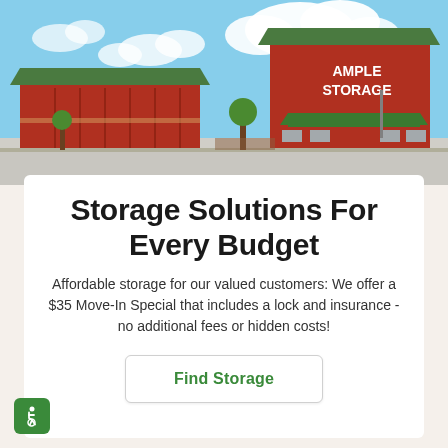[Figure (photo): Exterior photo of Ample Storage facility — red brick building with green roof, green awning, and sign reading 'AMPLE STORAGE', with a parking lot and trees under a partly cloudy sky]
Storage Solutions For Every Budget
Affordable storage for our valued customers: We offer a $35 Move-In Special that includes a lock and insurance - no additional fees or hidden costs!
Find Storage